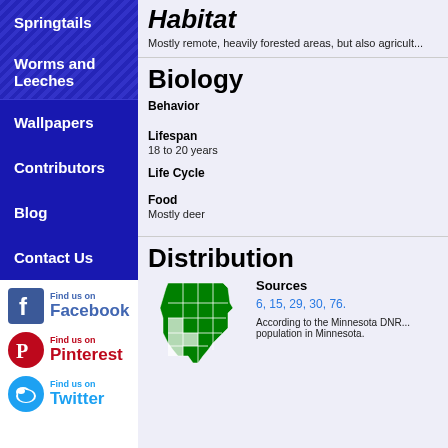Springtails
Worms and Leeches
Wallpapers
Contributors
Blog
Contact Us
Habitat
Mostly remote, heavily forested areas, but also agricult...
Biology
Behavior
Lifespan
18 to 20 years
Life Cycle
Food
Mostly deer
Distribution
[Figure (map): Map of Minnesota counties showing distribution, highlighted in green]
Sources
6, 15, 29, 30, 76.
According to the Minnesota DNR... population in Minnesota.